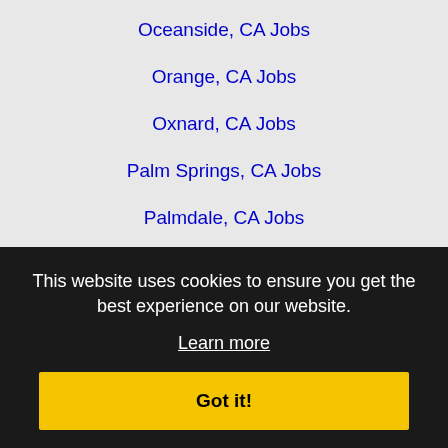Oceanside, CA Jobs
Orange, CA Jobs
Oxnard, CA Jobs
Palm Springs, CA Jobs
Palmdale, CA Jobs
Paramount, CA Jobs
Pasadena, CA Jobs
Perris, CA Jobs
Pico Rivera, CA Jobs
Placentia, CA Jobs
Pomona, CA Jobs
Poway, CA Jobs
Rancho Cucamonga, CA Jobs
Rancho Palos Verdes, CA Jobs
Rancho Santa Margarita, CA Jobs
Redlands, CA Jobs
Redondo Beach, CA Jobs
Rialto, CA Jobs
This website uses cookies to ensure you get the best experience on our website. Learn more Got it!